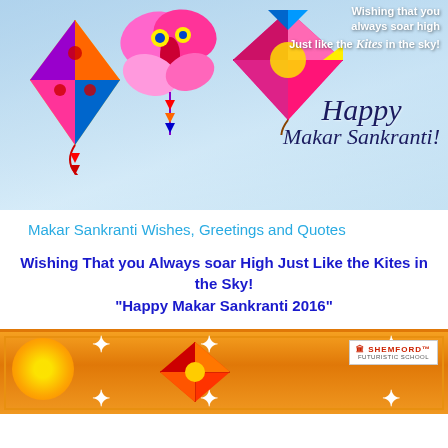[Figure (illustration): Colorful kites flying in a light blue sky with the text 'Wishing that you always soar high Just like the Kites in the sky! Happy Makar Sankranti!' written in cursive and white text on the right side.]
Makar Sankranti Wishes, Greetings and Quotes
Wishing That you Always soar High Just Like the Kites in the Sky!
“Happy Makar Sankranti 2016”
[Figure (illustration): Orange festive banner with decorative border, sparkle effects, a sun graphic on the left, a small kite illustration in the center, and the Shemford school logo on the right.]